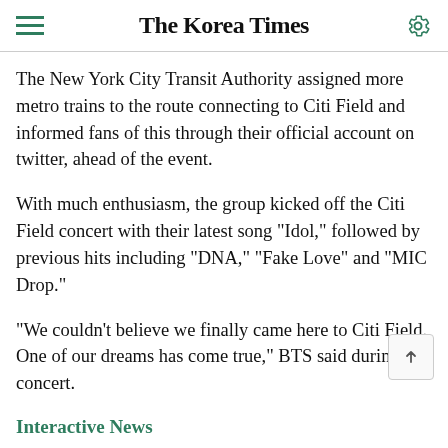The Korea Times
The New York City Transit Authority assigned more metro trains to the route connecting to Citi Field and informed fans of this through their official account on twitter, ahead of the event.
With much enthusiasm, the group kicked off the Citi Field concert with their latest song "Idol," followed by previous hits including "DNA," "Fake Love" and "MIC Drop."
"We couldn't believe we finally came here to Citi Field. One of our dreams has come true," BTS said during the concert.
Interactive News